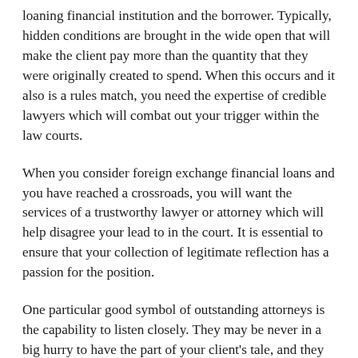loaning financial institution and the borrower. Typically, hidden conditions are brought in the wide open that will make the client pay more than the quantity that they were originally created to spend. When this occurs and it also is a rules match, you need the expertise of credible lawyers which will combat out your trigger within the law courts.
When you consider foreign exchange financial loans and you have reached a crossroads, you will want the services of a trustworthy lawyer or attorney which will help disagree your lead to in the court. It is essential to ensure that your collection of legitimate reflection has a passion for the position.
One particular good symbol of outstanding attorneys is the capability to listen closely. They may be never in a big hurry to have the part of your client's tale, and they will consider the discomfort to examine the paperwork before